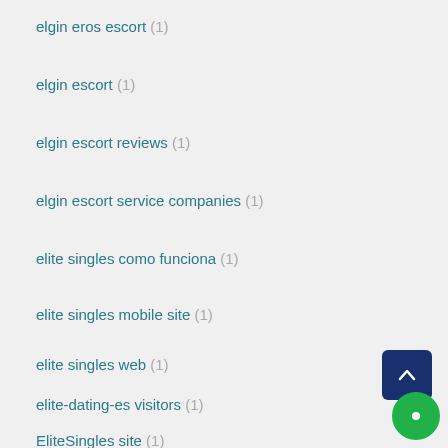elgin eros escort (1)
elgin escort (1)
elgin escort reviews (1)
elgin escort service companies (1)
elite singles como funciona (1)
elite singles mobile site (1)
elite singles web (1)
elite-dating-es visitors (1)
EliteSingles site (1)